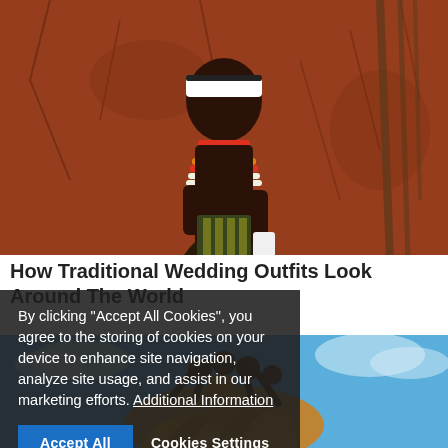[Figure (photo): African woman in traditional tribal attire with colorful beaded necklaces, white headband, standing in front of a cracked red clay/mud brick wall]
How Traditional Wedding Outfits Look Around The World
[Figure (photo): Close-up of a bird's talon/claw against a blue sky background with the bird's yellow and brown feathered wing visible]
By clicking "Accept All Cookies", you agree to the storing of cookies on your device to enhance site navigation, analyze site usage, and assist in our marketing efforts. Additional Information
Accept All
Cookies Settings